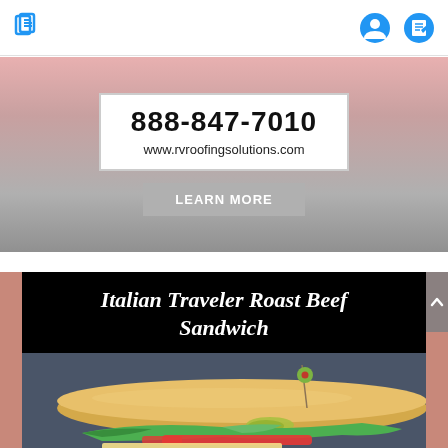Navigation header with icons
[Figure (screenshot): Advertisement banner showing phone number 888-847-7010 and website www.rvroofingsolutions.com with LEARN MORE button on a gradient pink-gray background]
Italian Traveler Roast Beef Sandwich
[Figure (photo): Photo of an Italian Traveler Roast Beef Sandwich on a sub roll with roast beef, tomatoes, lettuce, peppers, and an olive on a toothpick, on a dark blue background]